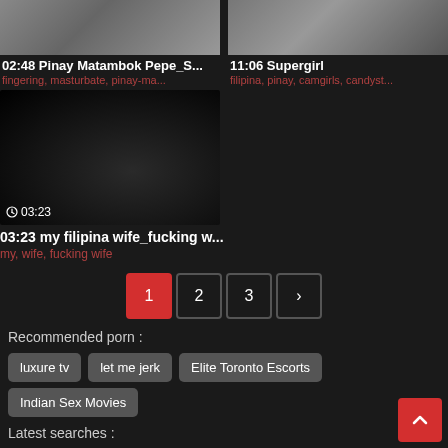02:48 Pinay Matambok Pepe_S...
fingering, masturbate, pinay-ma...
11:06 Supergirl
filipina, pinay, camgirls, candyst...
[Figure (screenshot): Video thumbnail showing dark scene with timestamp 03:23]
03:23 my filipina wife_fucking w...
my, wife, fucking wife
1  2  3  >
Recommended porn :
luxure tv
let me jerk
Elite Toronto Escorts
Indian Sex Movies
Latest searches :
Sexy Yassi Pressman
Hose Dreamhosters
Dawn Blouse Tumblr
Ashley Mason Videos